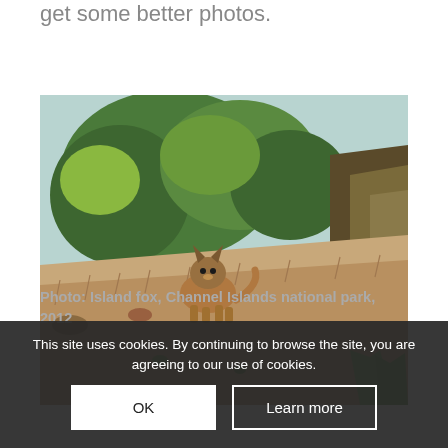get some better photos.
[Figure (photo): A small fox (island fox) sitting on dry grass hillside with green shrubs and rocky coastline in the background, Channel Islands National Park]
Photo: Island fox, Channel Islands national park, 2012
This site uses cookies. By continuing to browse the site, you are agreeing to our use of cookies.
OK   Learn more